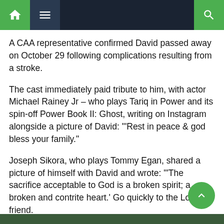[Navigation bar with home, menu, and search icons]
A CAA representative confirmed David passed away on October 29 following complications resulting from a stroke.
The cast immediately paid tribute to him, with actor Michael Rainey Jr – who plays Tariq in Power and its spin-off Power Book II: Ghost, writing on Instagram alongside a picture of David: "'Rest in peace & god bless your family."
Joseph Sikora, who plays Tommy Egan, shared a picture of himself with David and wrote: "'The sacrifice acceptable to God is a broken spirit; a broken and contrite heart.' Go quickly to the Lord my friend.
"Thank you for your guidance and kindness. There is a light out in the Bronx and certainly in the world. God bless you David."